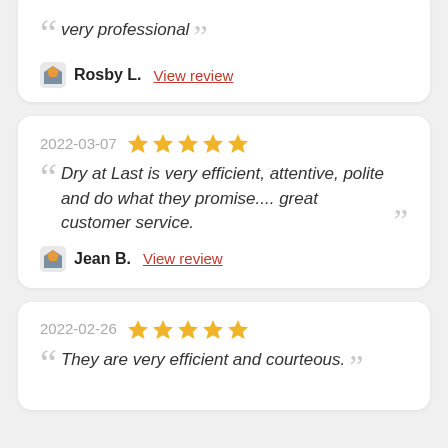very professional
Rosby L. View review
2022-03-07 ★★★★★
Dry at Last is very efficient, attentive, polite and do what they promise.... great customer service.
Jean B. View review
2022-02-26 ★★★★★
They are very efficient and courteous.